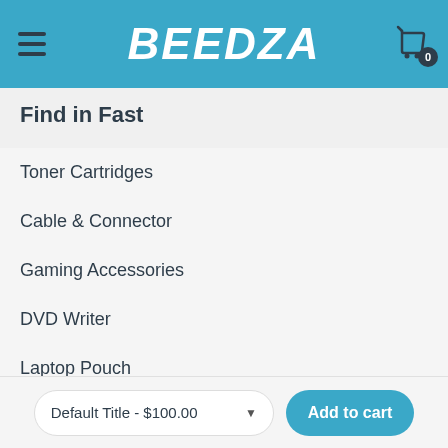BEEDZA
Find in Fast
Toner Cartridges
Cable & Connector
Gaming Accessories
DVD Writer
Laptop Pouch
Networking
Pendrives
MTG Sport Equipment
Default Title - $100.00   Add to cart